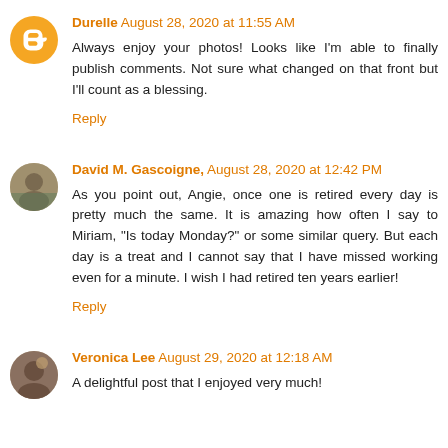Durelle August 28, 2020 at 11:55 AM
Always enjoy your photos! Looks like I'm able to finally publish comments. Not sure what changed on that front but I'll count as a blessing.
Reply
David M. Gascoigne, August 28, 2020 at 12:42 PM
As you point out, Angie, once one is retired every day is pretty much the same. It is amazing how often I say to Miriam, "Is today Monday?" or some similar query. But each day is a treat and I cannot say that I have missed working even for a minute. I wish I had retired ten years earlier!
Reply
Veronica Lee August 29, 2020 at 12:18 AM
A delightful post that I enjoyed very much!